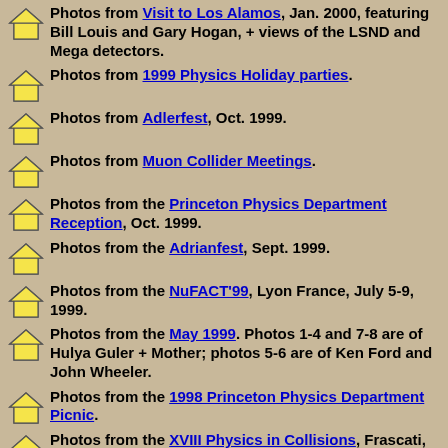Photos from Visit to Los Alamos, Jan. 2000, featuring Bill Louis and Gary Hogan, + views of the LSND and Mega detectors.
Photos from 1999 Physics Holiday parties.
Photos from Adlerfest, Oct. 1999.
Photos from Muon Collider Meetings.
Photos from the Princeton Physics Department Reception, Oct. 1999.
Photos from the Adrianfest, Sept. 1999.
Photos from the NuFACT'99, Lyon France, July 5-9, 1999.
Photos from the May 1999. Photos 1-4 and 7-8 are of Hulya Guler + Mother; photos 5-6 are of Ken Ford and John Wheeler.
Photos from the 1998 Princeton Physics Department Picnic.
Photos from the XVIII Physics in Collisions, Frascati, Italy, June 17-19, 1998.